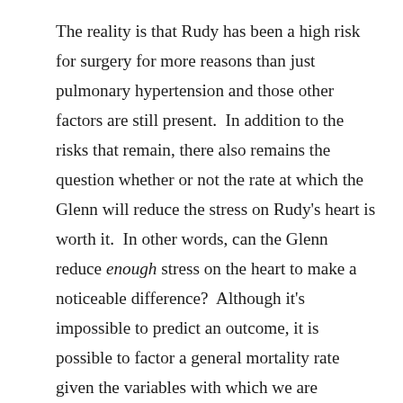The reality is that Rudy has been a high risk for surgery for more reasons than just pulmonary hypertension and those other factors are still present.  In addition to the risks that remain, there also remains the question whether or not the rate at which the Glenn will reduce the stress on Rudy's heart is worth it.  In other words, can the Glenn reduce enough stress on the heart to make a noticeable difference?  Although it's impossible to predict an outcome, it is possible to factor a general mortality rate given the variables with which we are working.  Dr. Harake encouraged us to think about what an acceptable mortality rate would be for us going into surgery.  That's certainly a difficult question to answer…a tough process to wrap the brain around.  We haven't heard back from the team at UCLA yet but Dr.